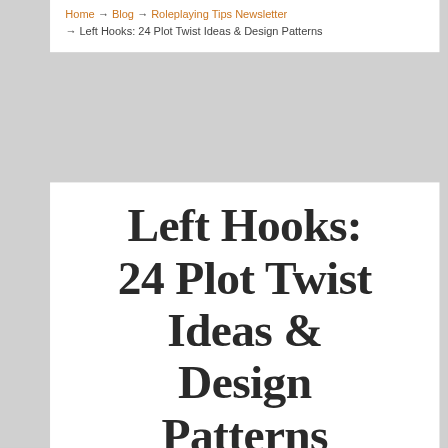Home → Blog → Roleplaying Tips Newsletter → Left Hooks: 24 Plot Twist Ideas & Design Patterns
Left Hooks: 24 Plot Twist Ideas & Design Patterns
Roleplaying Tips Newsletter